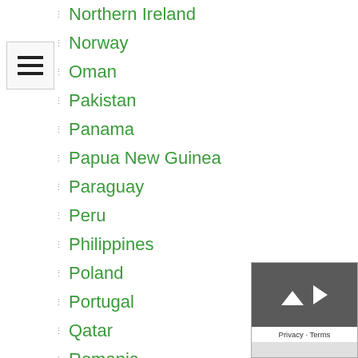Northern Ireland
Norway
Oman
Pakistan
Panama
Papua New Guinea
Paraguay
Peru
Philippines
Poland
Portugal
Qatar
Romania
Russia
Rwanda
Saudi Arabia
Scotland
Senegal
Serbia
Sierra Leone
Singapore
Slovakia
Slovenia